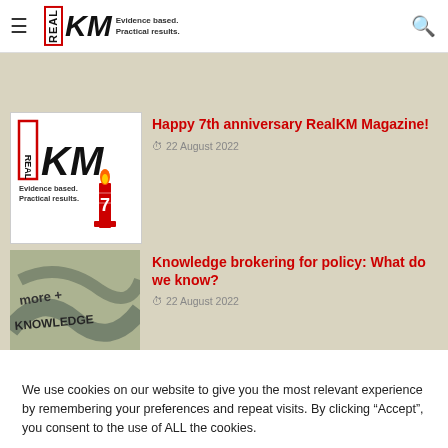RealKM — Evidence based. Practical results.
misinformation
[Figure (screenshot): RealKM Magazine logo with candle showing '7']
Happy 7th anniversary RealKM Magazine!
22 August 2022
[Figure (photo): Graffiti wall with 'more + knowledge' text]
Knowledge brokering for policy: What do we know?
22 August 2022
We use cookies on our website to give you the most relevant experience by remembering your preferences and repeat visits. By clicking “Accept”, you consent to the use of ALL the cookies.